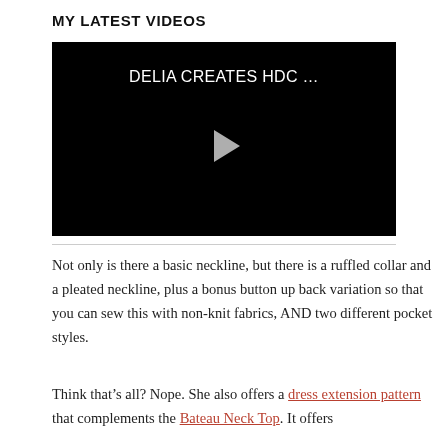MY LATEST VIDEOS
[Figure (screenshot): Video player with black background showing title 'DELIA CREATES HDC ...' and a play button triangle in the center]
Not only is there a basic neckline, but there is a ruffled collar and a pleated neckline, plus a bonus button up back variation so that you can sew this with non-knit fabrics, AND two different pocket styles.
Think that’s all? Nope. She also offers a dress extension pattern that complements the Bateau Neck Top. It offers